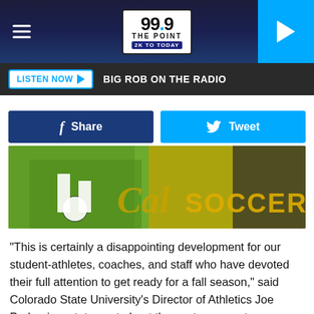[Figure (screenshot): 99.9 The Point radio station header with hamburger menu, logo, and play button]
LISTEN NOW ▶  BIG ROB ON THE RADIO
[Figure (photo): Soccer player dribbling ball in front of Cal Soccer banner]
"This is certainly a disappointing development for our student-athletes, coaches, and staff who have devoted their full attention to get ready for a fall season," said Colorado State University's Director of Athletics Joe Parker in a statement about the postponement. "However, as the worldwide COVID-19 pandemic has altered our landscape, we have always stressed that the health and safety of our student-athletes and community at large is the most